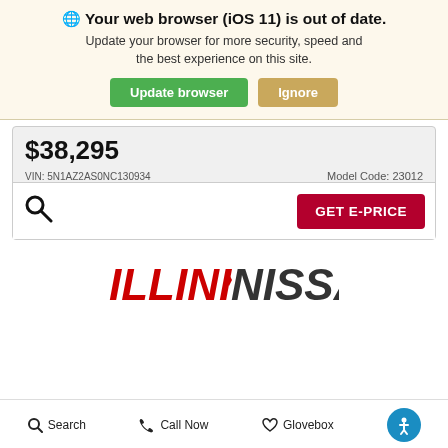🌐 Your web browser (iOS 11) is out of date. Update your browser for more security, speed and the best experience on this site. Update browser | Ignore
$38,295
Model Code: 23012
VIN: 5N1AZ2AS0NC130934
[Figure (logo): ILLINI NISSAN dealership logo in red and dark gray italic font]
Search  Call Now  Glovebox